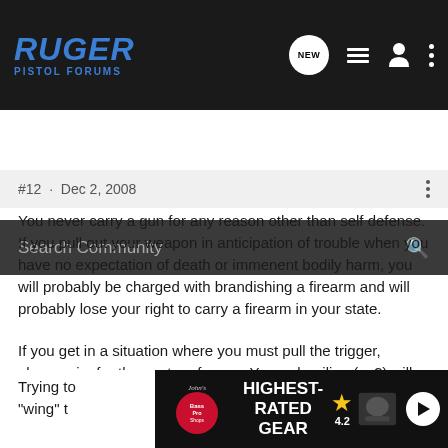[Figure (screenshot): Ruger Pistol Forums navigation bar with logo, new message icon, list icon, user icon, and more options icon]
[Figure (screenshot): Search Community search bar with magnifying glass icon]
#12 · Dec 2, 2008
You never carry a gun for any reason other than self defense. If you pull out your weapon in anticipation of trouble when you have no expectation of death or immenent bodily harm, you will probably be charged with brandishing a firearm and will probably lose your right to carry a firearm in your state.
If you get in a situation where you must pull the trigger, always aim for the center of mass. Your adreniline (sp?) will be pumping to the max, your hands will shake and you will get tunnel vision. You will be lucky if you hit anything or anyone you intend to hit.
Trying to  ...oting to "wing" t...
[Figure (screenshot): Bass Pro Shops advertisement banner: HIGHEST-RATED GEAR, rating 4.2 stars, product image and play button]